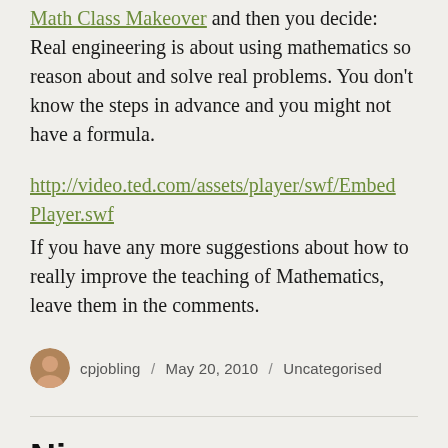Math Class Makeover and then you decide: Real engineering is about using mathematics so reason about and solve real problems. You don't know the steps in advance and you might not have a formula.
http://video.ted.com/assets/player/swf/EmbedPlayer.swf
If you have any more suggestions about how to really improve the teaching of Mathematics, leave them in the comments.
cpjobling / May 20, 2010 / Uncategorised
Ning announces new prices – initial comments